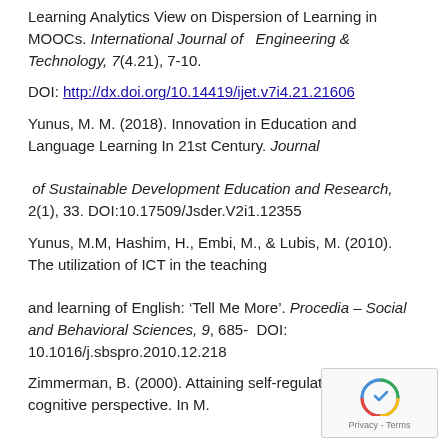Learning Analytics View on Dispersion of Learning in MOOCs. International Journal of Engineering & Technology, 7(4.21), 7-10.
DOI: http://dx.doi.org/10.14419/ijet.v7i4.21.21606
Yunus, M. M. (2018). Innovation in Education and Language Learning In 21st Century. Journal of Sustainable Development Education and Research, 2(1), 33. DOI:10.17509/Jsder.V2i1.12355
Yunus, M.M, Hashim, H., Embi, M., & Lubis, M. (2010). The utilization of ICT in the teaching and learning of English: ‘Tell Me More’. Procedia – Social and Behavioral Sciences, 9, 685- DOI: 10.1016/j.sbspro.2010.12.218
Zimmerman, B. (2000). Attaining self-regulation: A cognitive perspective. In M.